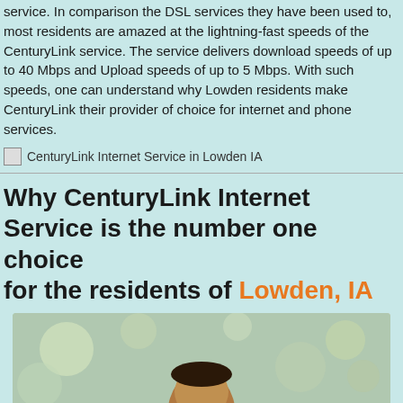service. In comparison the DSL services they have been used to, most residents are amazed at the lightning-fast speeds of the CenturyLink service. The service delivers download speeds of up to 40 Mbps and Upload speeds of up to 5 Mbps. With such speeds, one can understand why Lowden residents make CenturyLink their provider of choice for internet and phone services.
[Figure (photo): CenturyLink Internet Service in Lowden IA — image placeholder with broken image icon and alt text]
Why CenturyLink Internet Service is the number one choice for the residents of Lowden, IA
[Figure (photo): Photo of a smiling woman with bokeh background, partial view cropped at bottom of page]